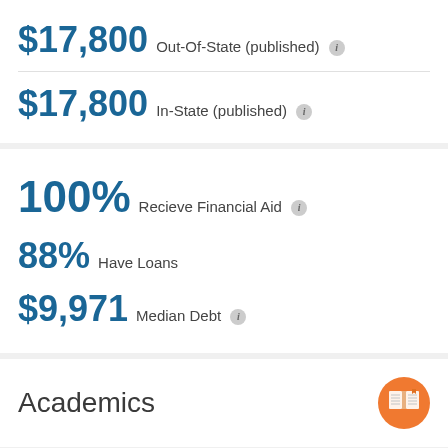$17,800 Out-Of-State (published)
$17,800 In-State (published)
100% Recieve Financial Aid
88% Have Loans
$9,971 Median Debt
Academics
"Registered Nursing/Registered Nurse"